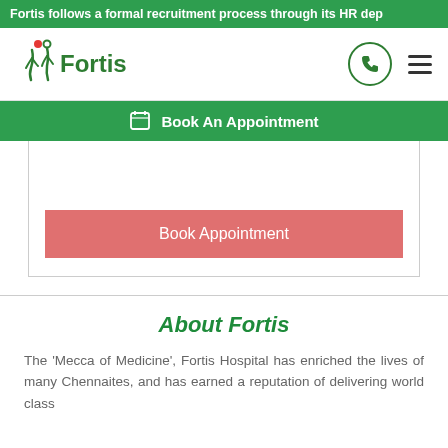Fortis follows a formal recruitment process through its HR dep
[Figure (logo): Fortis Healthcare logo with two human figures and red dot, green text 'Fortis']
Book An Appointment
Book Appointment
About Fortis
The 'Mecca of Medicine', Fortis Hospital has enriched the lives of many Chennaites, and has earned a reputation of delivering world class